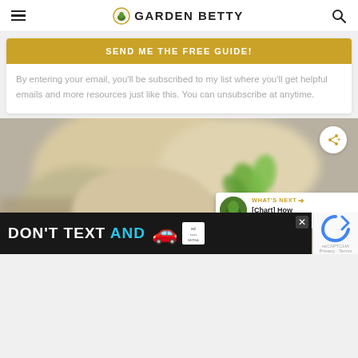GARDEN BETTY
SEND ME THE FREE GUIDE!
By entering your email, you'll be subscribed to my list where you'll get helpful emails and more resources just like this. You can unsubscribe at anytime.
[Figure (photo): Close-up photo of small green seedling sprout with blurred background, on a Garden Betty blog page]
WHAT'S NEXT → [Chart] How Much to Pla...
[Figure (infographic): Advertisement banner: DON'T TEXT AND [car emoji] with ad badge and NHTSA logo on dark background]